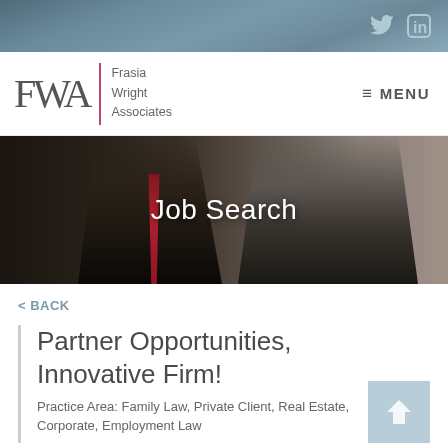[Figure (screenshot): Top navigation bar with Twitter and LinkedIn social media icons on dark textured blue-grey background]
[Figure (logo): FWA - Frasia Wright Associates law firm logo with pink vertical divider and hamburger menu with MENU text]
[Figure (photo): Hero banner photo showing two business professionals, man in suit with red tie on left, woman in grey suit on right, overlaid with 'Job Search' title text]
Job Search
< BACK
Partner Opportunities, Innovative Firm!
Practice Area: Family Law, Private Client, Real Estate, Corporate, Employment Law